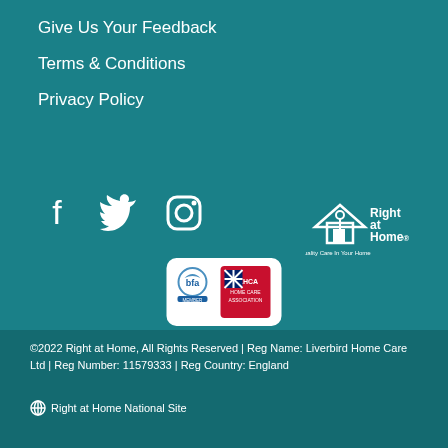Give Us Your Feedback
Terms & Conditions
Privacy Policy
[Figure (logo): Social media icons: Facebook, Twitter, Instagram]
[Figure (logo): Right at Home logo - Quality Care In Your Home]
[Figure (logo): BFA and UKHCA accreditation badges]
©2022 Right at Home, All Rights Reserved | Reg Name: Liverbird Home Care Ltd | Reg Number: 11579333 | Reg Country: England
Right at Home National Site